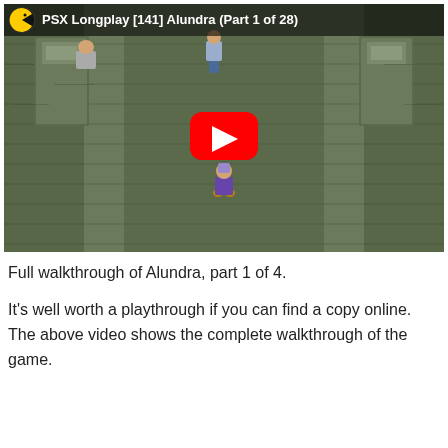[Figure (screenshot): YouTube video thumbnail for 'PSX Longplay [141] Alundra (Part 1 of 28)' showing a top-down RPG dungeon scene with stone tiles and a character, with a large red YouTube play button in the center]
Full walkthrough of Alundra, part 1 of 4.
It's well worth a playthrough if you can find a copy online. The above video shows the complete walkthrough of the game.